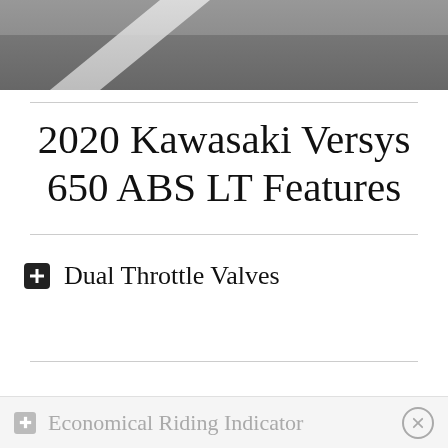[Figure (photo): Aerial/close-up view of a road with a white lane marking stripe on asphalt]
2020 Kawasaki Versys 650 ABS LT Features
Dual Throttle Valves
Economical Riding Indicator